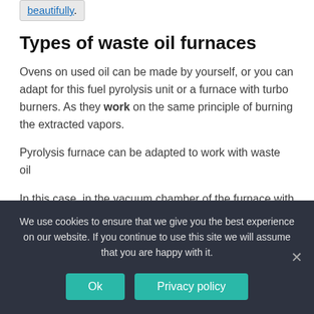beautifully.
Types of waste oil furnaces
Ovens on used oil can be made by yourself, or you can adapt for this fuel pyrolysis unit or a furnace with turbo burners. As they work on the same principle of burning the extracted vapors.
Pyrolysis furnace can be adapted to work with waste oil
In this case, in the vacuum chamber of the furnace with a lack of oxygen heats the waste and decomposes it. In the process of decomposition the evaporation is emitted,
We use cookies to ensure that we give you the best experience on our website. If you continue to use this site we will assume that you are happy with it.